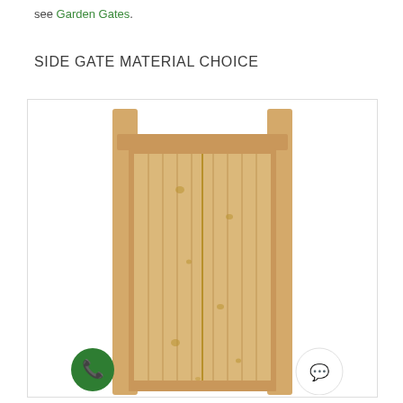see Garden Gates.
SIDE GATE MATERIAL CHOICE
[Figure (photo): A tall wooden side gate with vertical planks, shown between two fence posts. The gate is made of light-colored natural pine or similar wood, with a frame and tongue-and-groove boards. Two circular buttons are visible at the bottom: a green phone button on the left and a white chat button on the right.]